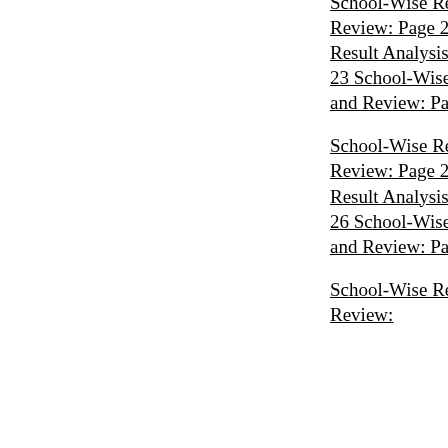School-Wise Result Analysis and Review: Page 22 School-Wise Result Analysis and Review: Page 23 School-Wise Result Analysis and Review: Page 24
School-Wise Result Analysis and Review: Page 25 School-Wise Result Analysis and Review: Page 26 School-Wise Result Analysis and Review: Page 27
School-Wise Result Analysis and Review: